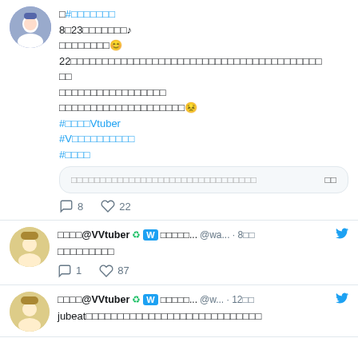□#□□□□□□□
8□23□□□□□□□♪
□□□□□□□□😊
22□□□□□□□□□□□□□□□□□□□□□□□□□□□□□□□□□□□□□□□□
□□
□□□□□□□□□□□□□□□□□
□□□□□□□□□□□□□□□□□□□□😣
#□□□□Vtuber
#V□□□□□□□□□□
#□□□□
□□□□□□□□□□□□□□□□□□□□□□□□□□□□□□□□    □□
💬 8   🤍 22
□□□□@VVtuber ♻ W□□□□□...  @wa... · 8□□  🐦
□□□□□□□□□
💬 1   🤍 87
□□□□@VVtuber ♻ W□□□□□...  @w... · 12□□  🐦
jubeat□□□□□□□□□□□□□□□□□□□□□□□□□□□□